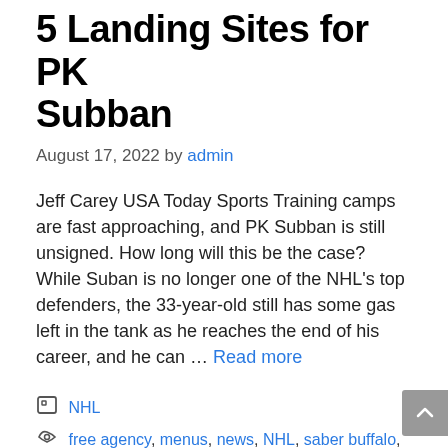5 Landing Sites for PK Subban
August 17, 2022 by admin
Jeff Carey USA Today Sports Training camps are fast approaching, and PK Subban is still unsigned. How long will this be the case? While Suban is no longer one of the NHL's top defenders, the 33-year-old still has some gas left in the tank as he reaches the end of his career, and he can … Read more
Categories: NHL
Tags: free agency, menus, news, NHL, saber buffalo, Seattle Kraken, Washington Capitals